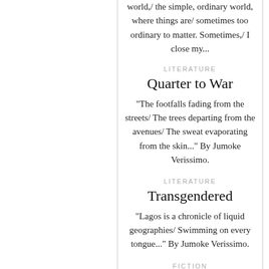world,/ the simple, ordinary world, where things are/ sometimes too ordinary to matter. Sometimes,/ I close my...
LITERATURE
Quarter to War
"The footfalls fading from the streets/ The trees departing from the avenues/ The sweat evaporating from the skin..." By Jumoke Verissimo.
LITERATURE
Transgendered
"Lagos is a chronicle of liquid geographies/ Swimming on every tongue..." By Jumoke Verissimo.
FICTION
Sketches of my Mother
"The mother of my memories was elegant. She would not step out of